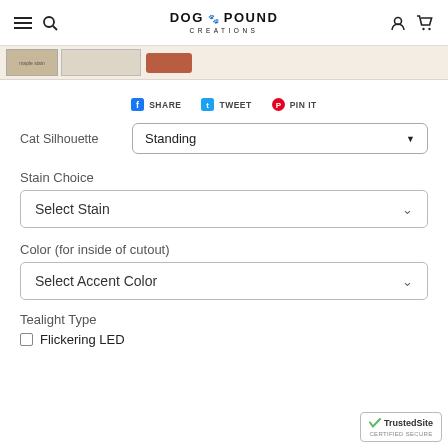DOG POUND CREATIONS — navigation header with hamburger menu, search, logo, user icon, and cart icon
[Figure (screenshot): Partial product image strip showing thumbnail images of wooden cat silhouette and an orange button]
SHARE  TWEET  PIN IT
Cat Silhouette  Standing
Stain Choice
Select Stain
Color (for inside of cutout)
Select Accent Color
Tealight Type
Flickering LED